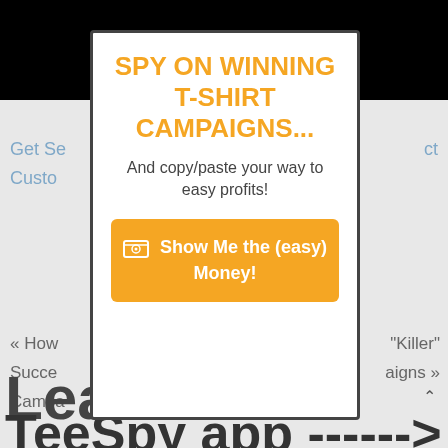[Figure (screenshot): Background showing a blurred/greyed-out webpage with navigation links and large text reading 'Learn... me' and 'TeeSpy app ------->']
SPY ON WINNING T-SHIRT CAMPAIGNS...
And copy/paste your way to easy profits!
Show Me the (easy) Money!